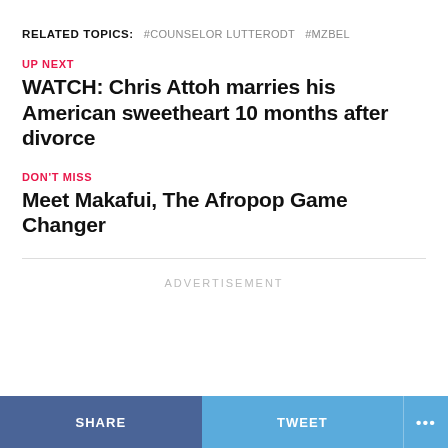RELATED TOPICS: #COUNSELOR LUTTERODT  #MZBEL
UP NEXT
WATCH: Chris Attoh marries his American sweetheart 10 months after divorce
DON'T MISS
Meet Makafui, The Afropop Game Changer
ADVERTISEMENT
SHARE   TWEET   ...